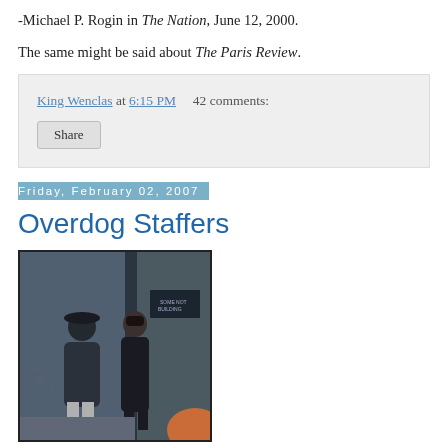-Michael P. Rogin in The Nation, June 12, 2000.
The same might be said about The Paris Review.
King Wenclas at 6:15 PM   42 comments:
Share
Friday, February 02, 2007
Overdog Staffers
[Figure (photo): Two people standing outside a building at night, one wearing a hat and coat, the other in a long dark coat. A bicycle is visible in the background. An orange glow in the lower right corner.]
Overdog Staffers